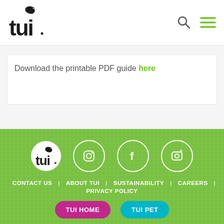[Figure (logo): TUI brand logo with bird icon above 'tui' wordmark in black]
Download the printable PDF guide here
[Figure (infographic): Footer with TUI logo circle, Instagram icon, Facebook icon, and another social icon (all white outlined circles) on green dotted background, with nav links: CONTACT US | ABOUT TUI | SUSTAINABILITY | CAREERS | PRIVACY POLICY, and two buttons: TUI HOME (magenta) and TUI PET (teal)]
CONTACT US | ABOUT TUI | SUSTAINABILITY | CAREERS | PRIVACY POLICY